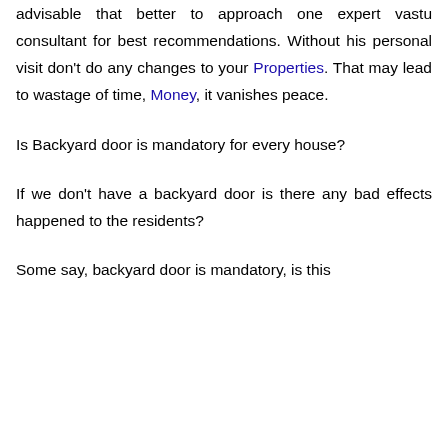advisable that better to approach one expert vastu consultant for best recommendations. Without his personal visit don't do any changes to your Properties. That may lead to wastage of time, Money, it vanishes peace.
Is Backyard door is mandatory for every house?
If we don't have a backyard door is there any bad effects happened to the residents?
Some say, backyard door is mandatory, is this